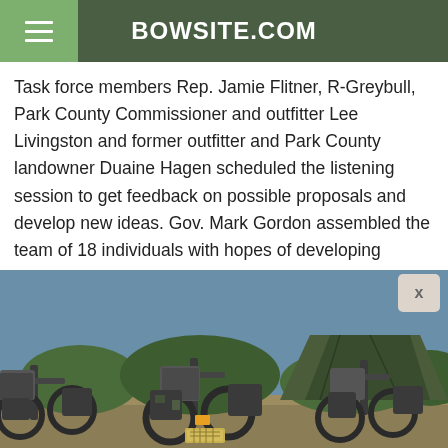BOWSITE.COM
Task force members Rep. Jamie Flitner, R-Greybull, Park County Commissioner and outfitter Lee Livingston and former outfitter and Park County landowner Duaine Hagen scheduled the listening session to get feedback on possible proposals and develop new ideas. Gov. Mark Gordon assembled the team of 18 individuals with hopes of developing acceptable proposals.
There was trepidation the meeting could turn contentious, as hunting and wildlife issue passions run deep here. The broad subject matter — from license allocation and the weapons hunters can use to invasive species and the overall
[Figure (photo): Advertisement photo showing electric hunting bikes with gear/panniers parked outdoors with a camouflage tent in the background]